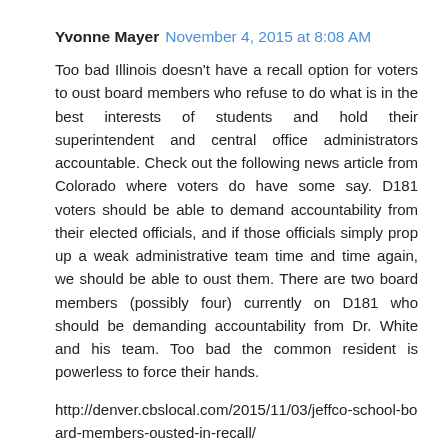Yvonne Mayer  November 4, 2015 at 8:08 AM
Too bad Illinois doesn't have a recall option for voters to oust board members who refuse to do what is in the best interests of students and hold their superintendent and central office administrators accountable. Check out the following news article from Colorado where voters do have some say. D181 voters should be able to demand accountability from their elected officials, and if those officials simply prop up a weak administrative team time and time again, we should be able to oust them. There are two board members (possibly four) currently on D181 who should be demanding accountability from Dr. White and his team. Too bad the common resident is powerless to force their hands.
http://denver.cbslocal.com/2015/11/03/jeffco-school-board-members-ousted-in-recall/
Reply